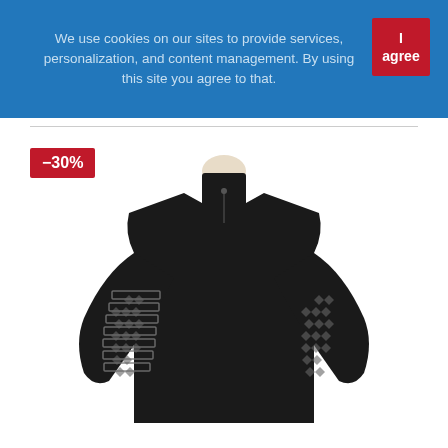We use cookies on our sites to provide services, personalization, and content management. By using this site you agree to that.
I agree
-30%
[Figure (photo): Black turtleneck/mock-neck long sleeve sweater with Nordic/fair-isle pattern detail on the sleeves, displayed on a mannequin torso against a white background.]